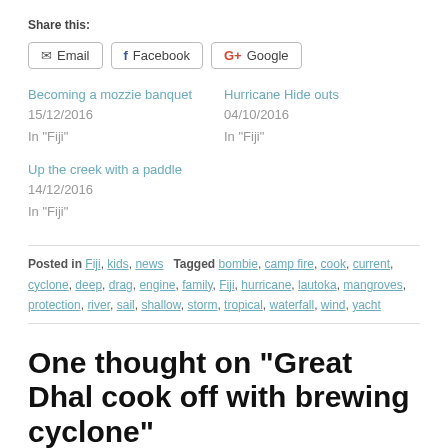Share this:
Email  Facebook  Google+
Becoming a mozzie banquet
15/12/2016
In "Fiji"
Hurricane Hide outs
04/10/2016
In "Fiji"
Up the creek with a paddle
14/12/2016
In "Fiji"
Posted in Fiji, kids, news  Tagged bombie, camp fire, cook, current, cyclone, deep, drag, engine, family, Fiji, hurricane, lautoka, mangroves, protection, river, sail, shallow, storm, tropical, waterfall, wind, yacht
One thought on “Great Dhal cook off with brewing cyclone”